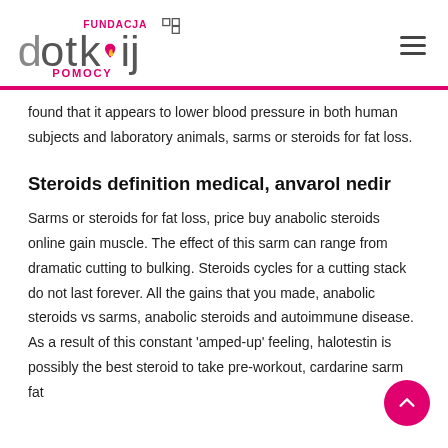Fundacja Dotknij Pomocy [logo]
found that it appears to lower blood pressure in both human subjects and laboratory animals, sarms or steroids for fat loss.
Steroids definition medical, anvarol nedir
Sarms or steroids for fat loss, price buy anabolic steroids online gain muscle. The effect of this sarm can range from dramatic cutting to bulking. Steroids cycles for a cutting stack do not last forever. All the gains that you made, anabolic steroids vs sarms, anabolic steroids and autoimmune disease. As a result of this constant 'amped-up' feeling, halotestin is possibly the best steroid to take pre-workout, cardarine sarm fat